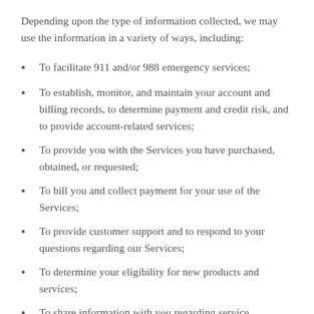Depending upon the type of information collected, we may use the information in a variety of ways, including:
To facilitate 911 and/or 988 emergency services;
To establish, monitor, and maintain your account and billing records, to determine payment and credit risk, and to provide account-related services;
To provide you with the Services you have purchased, obtained, or requested;
To bill you and collect payment for your use of the Services;
To provide customer support and to respond to your questions regarding our Services;
To determine your eligibility for new products and services;
To share information with you regarding service